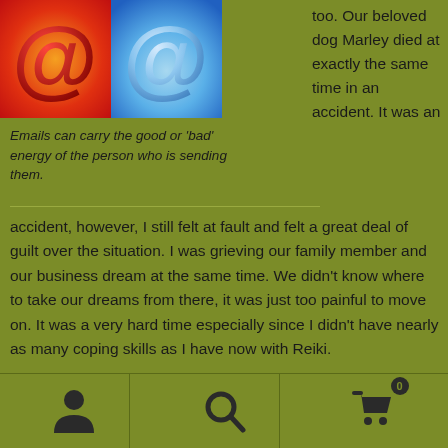[Figure (illustration): Two side-by-side images: left shows a red/orange glowing at-sign symbol on warm background, right shows a silver/blue glowing at-sign symbol on cool blue background]
too.  Our beloved dog Marley died at exactly the same time in an accident.  It was an accident, however, I still felt at fault and felt a great deal of guilt over the situation.   I was grieving our family member and our business dream at the same time.  We didn't know where to take our dreams from there, it was just too painful to move on.  It was a very hard time especially since I didn't have nearly as many coping skills as I have now with Reiki.
Emails can carry the good or 'bad' energy of the person who is sending them.
[Figure (infographic): Bottom navigation bar with three icons: person/user icon, search/magnifying glass icon, and shopping cart icon with badge showing 0]